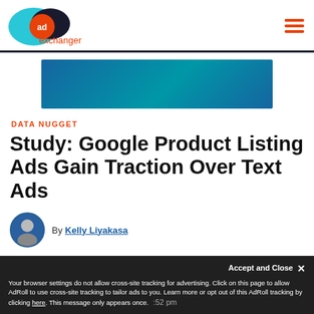AdExchanger
[Figure (other): Advertisement banner with blue gradient background]
DATA NUGGET
Study: Google Product Listing Ads Gain Traction Over Text Ads
By Kelly Liyakasa
Your browser settings do not allow cross-site tracking for advertising. Click on this page to allow AdRoll to use cross-site tracking to tailor ads to you. Learn more or opt out of this AdRoll tracking by clicking here. This message only appears once.